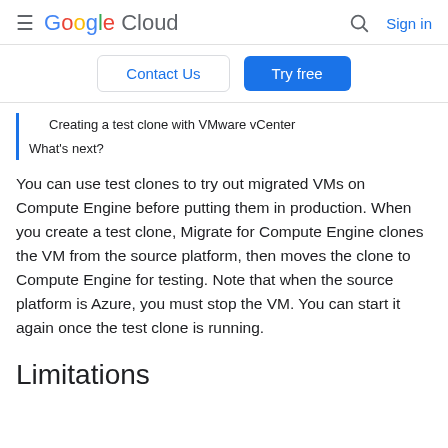Google Cloud  Sign in
Contact Us  Try free
Creating a test clone with VMware vCenter
What's next?
You can use test clones to try out migrated VMs on Compute Engine before putting them in production. When you create a test clone, Migrate for Compute Engine clones the VM from the source platform, then moves the clone to Compute Engine for testing. Note that when the source platform is Azure, you must stop the VM. You can start it again once the test clone is running.
Limitations